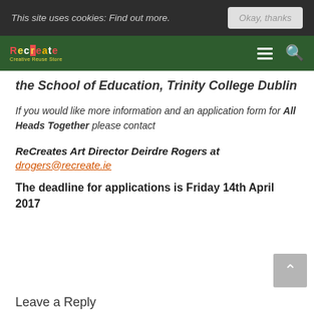This site uses cookies: Find out more. Okay, thanks
[Figure (logo): ReCreates logo with coloured letters on dark green navigation bar with hamburger menu and search icon]
the School of Education, Trinity College Dublin
If you would like more information and an application form for All Heads Together please contact
ReCreates Art Director Deirdre Rogers at drogers@recreate.ie
The deadline for applications is Friday 14th April 2017
Leave a Reply